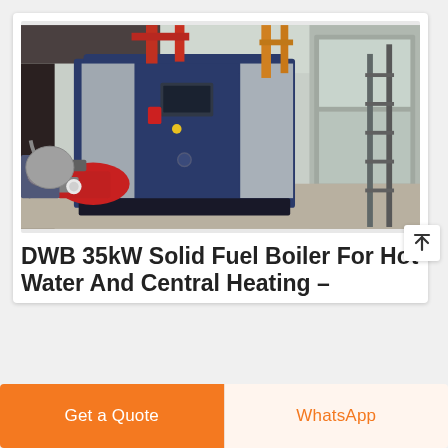[Figure (photo): Industrial boiler unit (DWB 35kW Solid Fuel Boiler) in a warehouse/factory setting. The boiler is a large blue and stainless steel cabinet unit with red piping above. A red burner assembly is visible on the left front. Various pipes and equipment visible in background.]
DWB 35kW Solid Fuel Boiler For Hot Water And Central Heating –
Get a Quote
WhatsApp